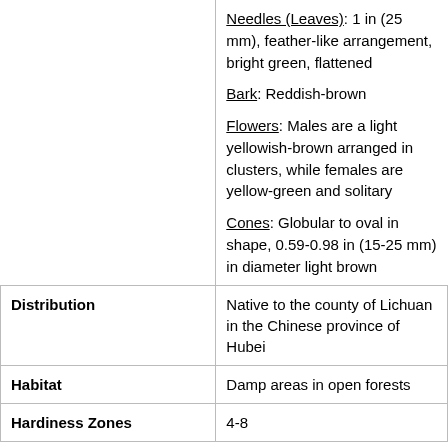|  | Needles (Leaves): 1 in (25 mm), feather-like arrangement, bright green, flattened

Bark: Reddish-brown

Flowers: Males are a light yellowish-brown arranged in clusters, while females are yellow-green and solitary

Cones: Globular to oval in shape, 0.59-0.98 in (15-25 mm) in diameter light brown |
| Distribution | Native to the county of Lichuan in the Chinese province of Hubei |
| Habitat | Damp areas in open forests |
| Hardiness Zones | 4-8 |